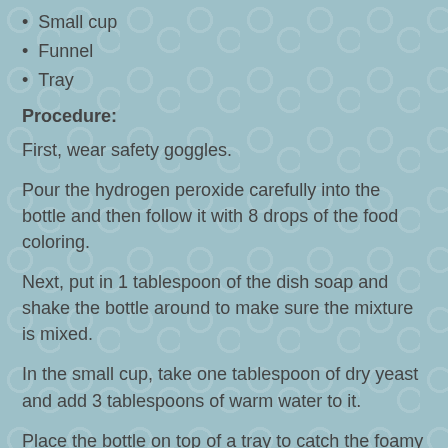Small cup
Funnel
Tray
Procedure:
First, wear safety goggles.
Pour the hydrogen peroxide carefully into the bottle and then follow it with 8 drops of the food coloring.
Next, put in 1 tablespoon of the dish soap and shake the bottle around to make sure the mixture is mixed.
In the small cup, take one tablespoon of dry yeast and add 3 tablespoons of warm water to it.
Place the bottle on top of a tray to catch the foamy toothpaste. With the help of the funnel, pour the cup mixture into the bottle. Watch as foam starts coming out of the bottle.
6. Blending Water With a Comb